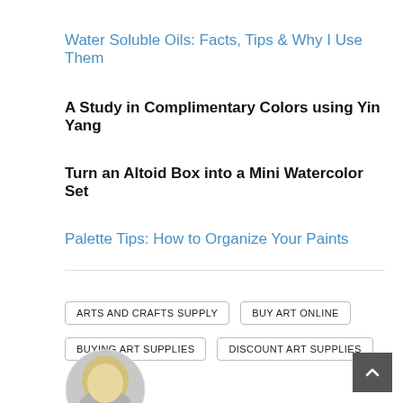Water Soluble Oils: Facts, Tips & Why I Use Them
A Study in Complimentary Colors using Yin Yang
Turn an Altoid Box into a Mini Watercolor Set
Palette Tips: How to Organize Your Paints
ARTS AND CRAFTS SUPPLY
BUY ART ONLINE
BUYING ART SUPPLIES
DISCOUNT ART SUPPLIES
PAINTING SUPPLIES
SAVE MONEY
STARVING ARTIST
[Figure (photo): Circular avatar photo of a person with blonde hair, partially visible at bottom left]